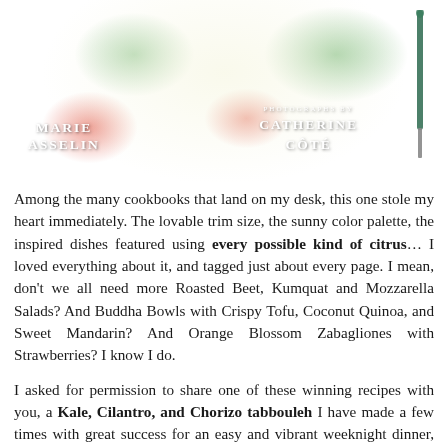[Figure (photo): Book cover photo showing a salad with grapefruit segments, greens, fennel on a white plate against a pink/red background. Text overlay shows 'MARIE ASSELIN' on the left and 'PHOTOGRAPHS BY CATHERINE CÔTÉ' on the right. A decorative knife is visible on the right edge.]
Among the many cookbooks that land on my desk, this one stole my heart immediately. The lovable trim size, the sunny color palette, the inspired dishes featured using every possible kind of citrus… I loved everything about it, and tagged just about every page. I mean, don't we all need more Roasted Beet, Kumquat and Mozzarella Salads? And Buddha Bowls with Crispy Tofu, Coconut Quinoa, and Sweet Mandarin? And Orange Blossom Zabagliones with Strawberries? I know I do.
I asked for permission to share one of these winning recipes with you, a Kale, Cilantro, and Chorizo tabbouleh I have made a few times with great success for an easy and vibrant weeknight dinner, with leftovers to bring to my office for lunch. It is the perfect opportunity to try her formula for Everyday Citrus Dressing, which is different from mine, and offers a complex balance of tang